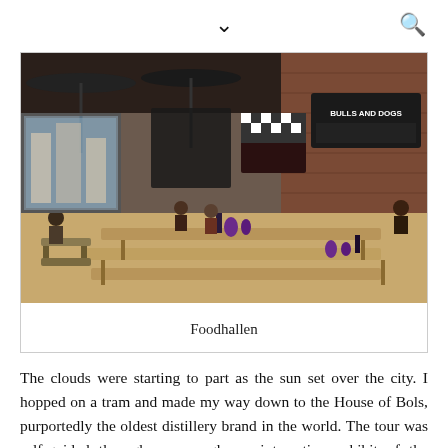▾  🔍
[Figure (photo): Interior of Foodhallen, an indoor food market in Amsterdam with long communal wooden tables, people dining, and various food stalls visible in the background including one labeled 'Bulls and Dogs'.]
Foodhallen
The clouds were starting to part as the sun set over the city. I hopped on a tram and made my way down to the House of Bols, purportedly the oldest distillery brand in the world. The tour was self-guided through a very glossy, interactive exhibit of the history and distillation of jenever, a traditional Dutch liquor and the precursor to gin. At the end of the tour, you received a cocktail of your choice and a couple tasting shots